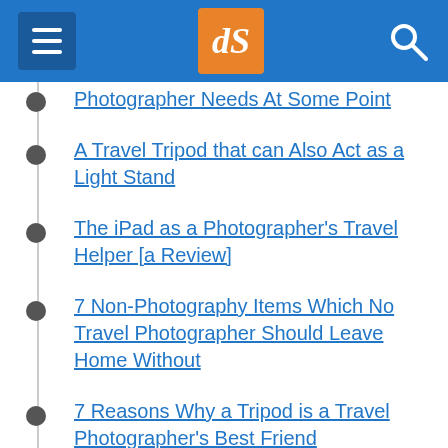dPS navigation header with hamburger menu, dPS logo, and search icon
Photographer Needs At Some Point
A Travel Tripod that can Also Act as a Light Stand
The iPad as a Photographer's Travel Helper [a Review]
7 Non-Photography Items Which No Travel Photographer Should Leave Home Without
7 Reasons Why a Tripod is a Travel Photographer's Best Friend
Travel Photography Equipment – What To Pack?